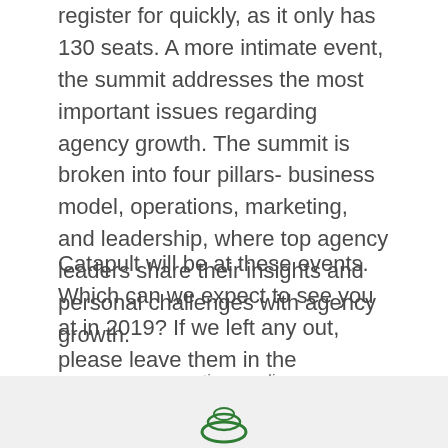register for quickly, as it only has 130 seats. A more intimate event, the summit addresses the most important issues regarding agency growth. The summit is broken into four pillars- business model, operations, marketing, and leadership, where top agency leaders share their insights and personal challenges with agency growth.
Catapult will be at these events. Which can we expect to see you at in 2019? If we left any out, please leave them in the comments below!
→ continue reading
[Figure (logo): Partial logo visible at bottom of page in footer area]